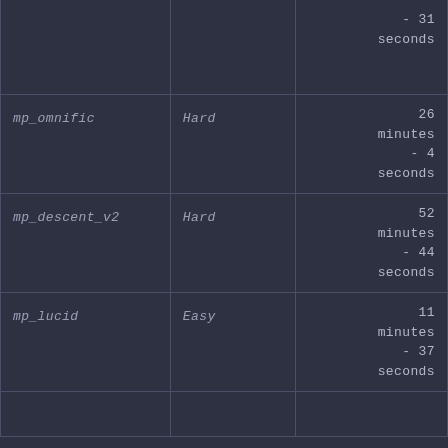| Name | Difficulty | Time |
| --- | --- | --- |
|  |  | - 31 seconds |
| mp_omnific | Hard | 26 minutes - 4 seconds |
| mp_descent_v2 | Hard | 52 minutes - 44 seconds |
| mp_lucid | Easy | 11 minutes - 37 seconds |
|  |  |  |